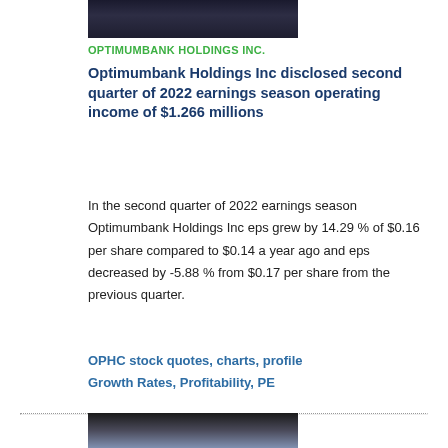[Figure (photo): Partial photo of a bank or office interior, dark tones, shown at top of article]
OPTIMUMBANK HOLDINGS INC.
Optimumbank Holdings Inc disclosed second quarter of 2022 earnings season operating income of $1.266 millions
In the second quarter of 2022 earnings season Optimumbank Holdings Inc eps grew by 14.29 % of $0.16 per share compared to $0.14 a year ago and eps decreased by -5.88 % from $0.17 per share from the previous quarter.
OPHC stock quotes, charts, profile
Growth Rates, Profitability, PE
[Figure (photo): Partial photo at bottom of page, showing a counter or desk with light background, dark surroundings]